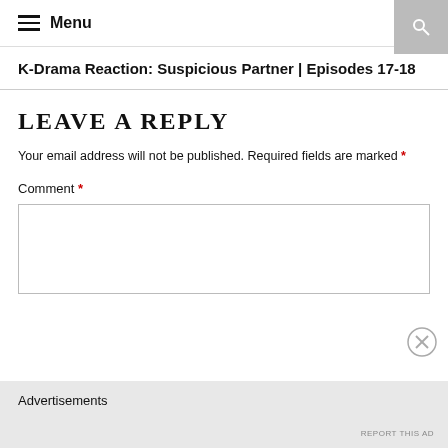Menu
K-Drama Reaction: Suspicious Partner | Episodes 17-18
LEAVE A REPLY
Your email address will not be published. Required fields are marked *
Comment *
Advertisements